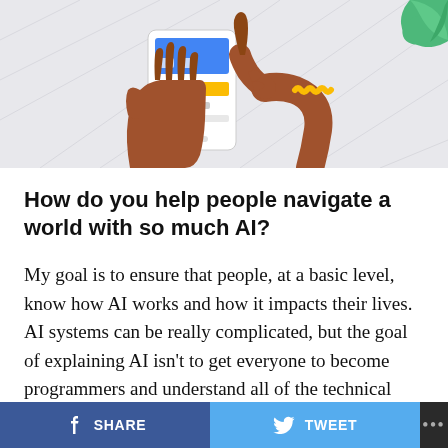[Figure (illustration): Illustration of two brown-skinned hands, one holding a smartphone displaying a blue and yellow interface, the other hand pointing at it with a yellow beaded bracelet on the wrist. A green leaf shape is visible in the upper right corner. Background is light gray.]
How do you help people navigate a world with so much AI?
My goal is to ensure that people, at a basic level, know how AI works and how it impacts their lives. AI systems can be really complicated, but the goal of explaining AI isn't to get everyone to become programmers and understand all of the technical details — it's to make sure people understand the parts that matter to them.
When AI makes a decision that affects people (whether
SHARE   TWEET   ...